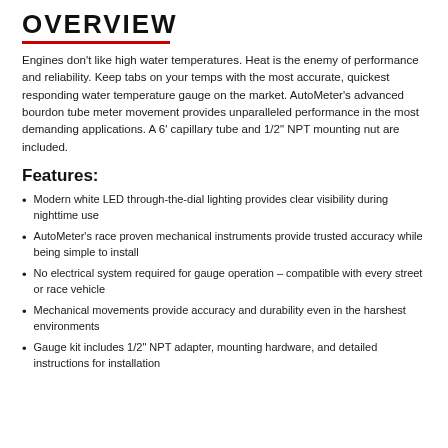OVERVIEW
Engines don't like high water temperatures. Heat is the enemy of performance and reliability. Keep tabs on your temps with the most accurate, quickest responding water temperature gauge on the market. AutoMeter's advanced bourdon tube meter movement provides unparalleled performance in the most demanding applications. A 6' capillary tube and 1/2" NPT mounting nut are included.
Features:
Modern white LED through-the-dial lighting provides clear visibility during nighttime use
AutoMeter's race proven mechanical instruments provide trusted accuracy while being simple to install
No electrical system required for gauge operation – compatible with every street or race vehicle
Mechanical movements provide accuracy and durability even in the harshest environments
Gauge kit includes 1/2" NPT adapter, mounting hardware, and detailed instructions for installation